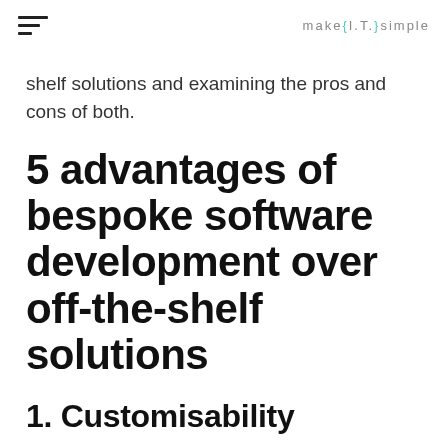make{I.T.}simple
shelf solutions and examining the pros and cons of both.
5 advantages of bespoke software development over off-the-shelf solutions
1. Customisability
Customisability is one of the major advantages of